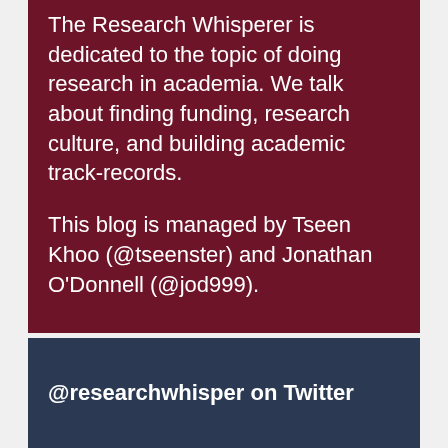The Research Whisperer is dedicated to the topic of doing research in academia. We talk about finding funding, research culture, and building academic track-records.
This blog is managed by Tseen Khoo (@tseenster) and Jonathan O'Donnell (@jod999).
@researchwhisper on Twitter